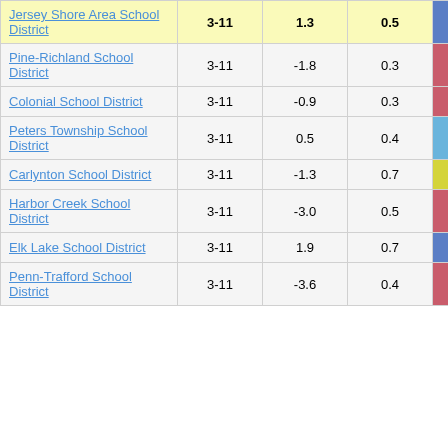| District | Grades | Col3 | Col4 | Score |
| --- | --- | --- | --- | --- |
| Jersey Shore Area School District | 3-11 | 1.3 | 0.5 | 2.69 |
| Pine-Richland School District | 3-11 | -1.8 | 0.3 | -5.32 |
| Colonial School District | 3-11 | -0.9 | 0.3 | -2.58 |
| Peters Township School District | 3-11 | 0.5 | 0.4 | 1.39 |
| Carlynton School District | 3-11 | -1.3 | 0.7 | -1.90 |
| Harbor Creek School District | 3-11 | -3.0 | 0.5 | -6.14 |
| Elk Lake School District | 3-11 | 1.9 | 0.7 | 2.92 |
| Penn-Trafford School District | 3-11 | -3.6 | 0.4 | -9.37 |